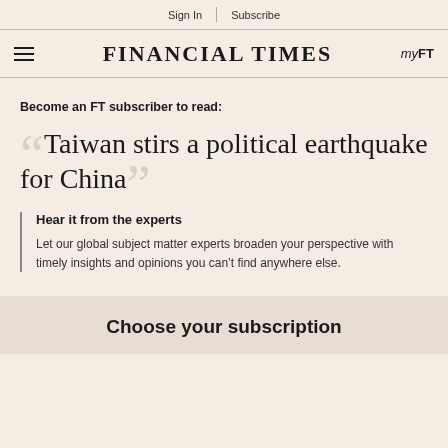Sign In | Subscribe
FINANCIAL TIMES | myFT
Become an FT subscriber to read:
Taiwan stirs a political earthquake for China
Hear it from the experts
Let our global subject matter experts broaden your perspective with timely insights and opinions you can’t find anywhere else.
Choose your subscription